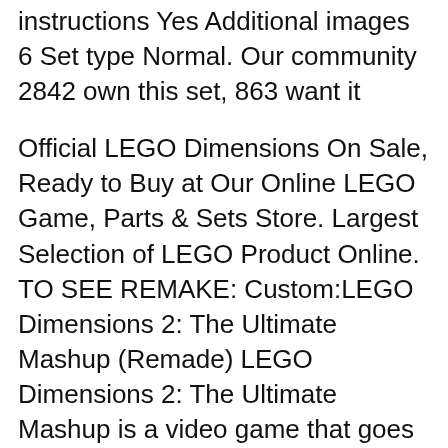instructions Yes Additional images 6 Set type Normal. Our community 2842 own this set, 863 want it
Official LEGO Dimensions On Sale, Ready to Buy at Our Online LEGO Game, Parts & Sets Store. Largest Selection of LEGO Product Online. TO SEE REMAKE: Custom:LEGO Dimensions 2: The Ultimate Mashup (Remade) LEGO Dimensions 2: The Ultimate Mashup is a video game that goes further beyond LEGO Dimensions.
lego dimensions free download - LEGO Dimensions, LEGO Dimensions Collection Vortex, Best Guide to Sonic Lego Dimensions, and many more